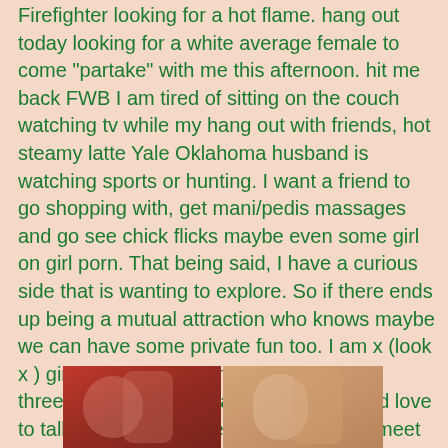Firefighter looking for a hot flame. hang out today looking for a white average female to come "partake" with me this afternoon. hit me back FWB I am tired of sitting on the couch watching tv while my hang out with friends, hot steamy latte Yale Oklahoma husband is watching sports or hunting. I want a friend to go shopping with, get mani/pedis massages and go see chick flicks maybe even some girl on girl porn. That being said, I have a curious side that is wanting to explore. So if there ends up being a mutual attraction who knows maybe we can have some private fun too. I am x (look x ) girlie size x / x . I am not looking for a threesome with your man or mine. I would love to talk on the and voice verify before we meet and exchange picks. No body parts please. Not into women that want sex only. Don't get me wrong I LOVE TO FLIRT!!!!! but there must be friendship and physical attraction. I am a curvy girl and am attracted to the same. Love the thought of big breasts (if we get that far lol). Any race is fine with me as long as you take
[Figure (photo): Partial photo strip at the bottom showing two images side by side]